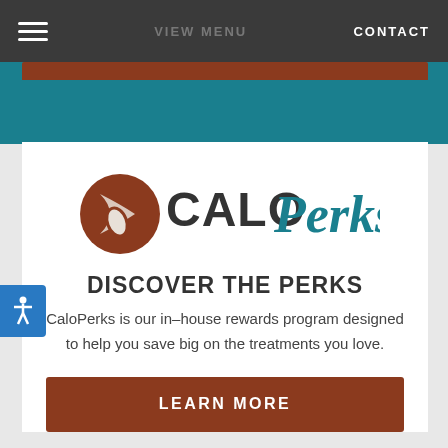VIEW MENU  CONTACT
[Figure (logo): CaloPerks logo with coffee bean icon and stylized text 'CALO' in brown and 'Perks' in teal script]
DISCOVER THE PERKS
CaloPerks is our in–house rewards program designed to help you save big on the treatments you love.
LEARN MORE